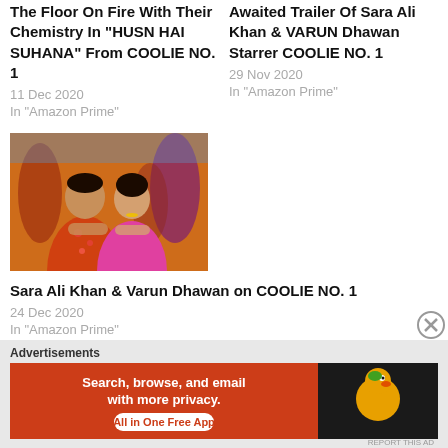The Floor On Fire With Their Chemistry In "HUSN HAI SUHANA" From COOLIE NO. 1
11 Dec 2020
In "Amazon Prime"
Awaited Trailer Of Sara Ali Khan & VARUN Dhawan Starrer COOLIE NO. 1
29 Nov 2020
In "Amazon Prime"
[Figure (photo): Sara Ali Khan and Varun Dhawan posed together, colorful festive background]
Sara Ali Khan & Varun Dhawan on COOLIE NO. 1
24 Dec 2020
In "Amazon Prime"
Advertisements
[Figure (screenshot): DuckDuckGo advertisement banner: Search, browse, and email with more privacy. All in One Free App]